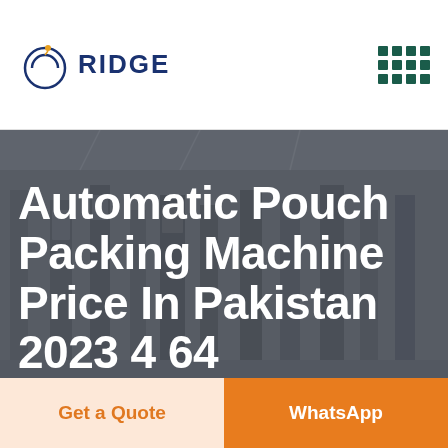RIDGE
[Figure (photo): Industrial machinery/packing machine facility interior, dark overlay, with large white text overlay reading 'Automatic Pouch Packing Machine Price In Pakistan 2023 4 64']
Automatic Pouch Packing Machine Price In Pakistan 2023 4 64
Get a Quote | WhatsApp